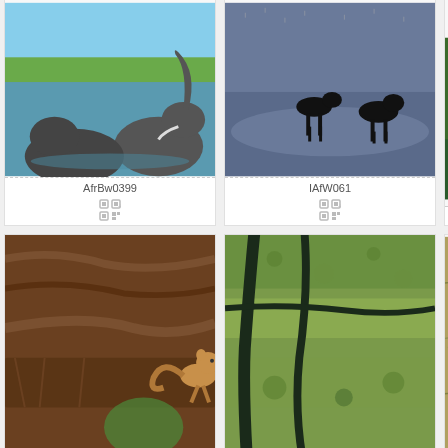[Figure (photo): Two elephants in water, one with trunk raised, green vegetation in background]
AfrBw0399
[Figure (photo): Silhouettes of deer/antelope running through water/wetland]
IAfW061
[Figure (photo): Person in orange vest on boat, partially cropped]
AfrB
[Figure (photo): Small monkey or squirrel on tree bark, brown tones]
AfrBw070
[Figure (photo): Aerial view of wetland with dark water channels through green vegetation]
AfrBw096
[Figure (photo): Aerial view of cracked earth and dark water channel, partially cropped]
AfrB